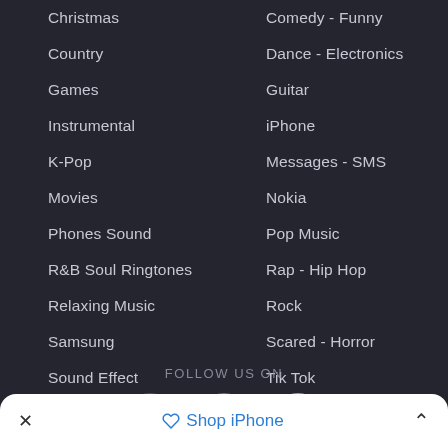Christmas
Comedy - Funny
Country
Dance - Electronics
Games
Guitar
Instrumental
iPhone
K-Pop
Messages - SMS
Movies
Nokia
Phones Sound
Pop Music
R&B Soul Ringtones
Rap - Hip Hop
Relaxing Music
Rock
Samsung
Scared - Horror
Sound Effect
Tik Tok
FOLLOW US ON
[Figure (infographic): Social media icons: Facebook (blue circle), Google+ (red circle), Twitter (cyan circle)]
Shop iPhone